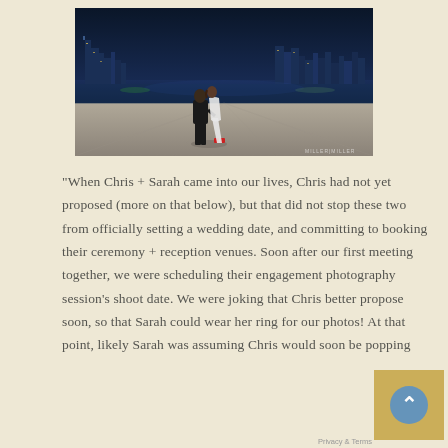[Figure (photo): Couple kissing on a waterfront plaza at night with a glowing city skyline (Chicago) reflected in the water behind them. Woman in white dress with red heels, man in dark suit. Watermark reads MILLER|MILLER in the bottom right corner.]
"When Chris + Sarah came into our lives, Chris had not yet proposed (more on that below), but that did not stop these two from officially setting a wedding date, and committing to booking their ceremony + reception venues. Soon after our first meeting together, we were scheduling their engagement photography session's shoot date. We were joking that Chris better propose soon, so that Sarah could wear her ring for our photos! At that point, likely Sarah was assuming Chris would soon be popping